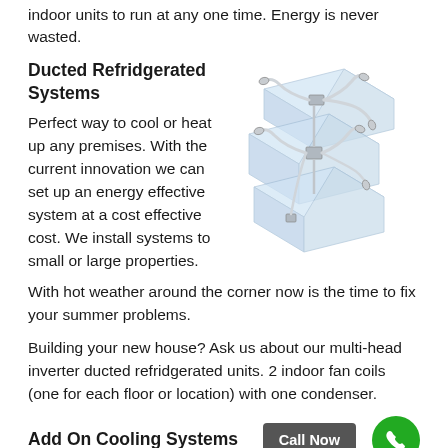indoor units to run at any one time. Energy is never wasted.
Ducted Refridgerated Systems
Perfect way to cool or heat up any premises. With the current innovation we can set up an energy effective system at a cost effective cost. We install systems to small or large properties.
[Figure (engineering-diagram): Isometric illustration of a ducted refrigerated HVAC system showing layered floor plans with ductwork, fan coils, and pipe connections running between multiple building levels.]
With hot weather around the corner now is the time to fix your summer problems.
Building your new house? Ask us about our multi-head inverter ducted refridgerated units. 2 indoor fan coils (one for each floor or location) with one condenser.
Add On Cooling Systems
Add-on refridgerated cooling to your gas ducted heating